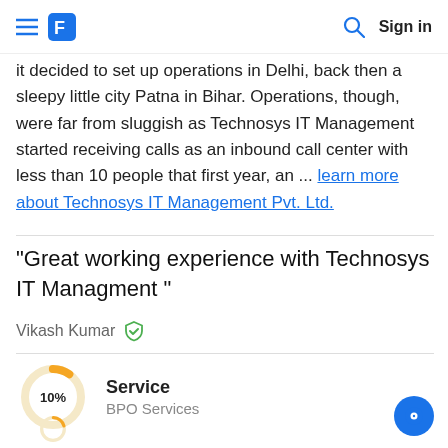≡ [logo] [search] Sign in
it decided to set up operations in Delhi, back then a sleepy little city Patna in Bihar. Operations, though, were far from sluggish as Technosys IT Management started receiving calls as an inbound call center with less than 10 people that first year, an ... learn more about Technosys IT Management Pvt. Ltd.
"Great working experience with Technosys IT Managment "
Vikash Kumar [verified]
[Figure (donut-chart): Service — BPO Services]
Service
BPO Services